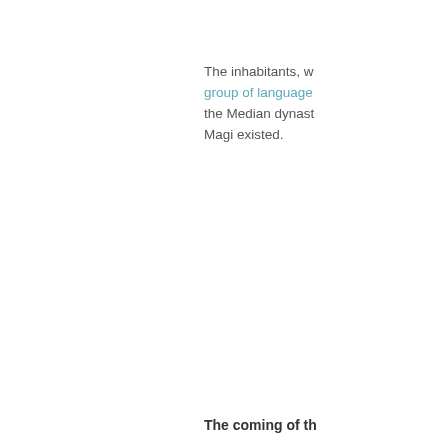The inhabitants, w... group of languages ...the Median dynast... Magi existed.
The coming of th...
Though isolated g... millennium BCE,
By the mid-9th ce... the Medes were th... Assyrian armies ra... encountered Mede...
Early in the 1st mi... actually pushing s... Mesopotamia...